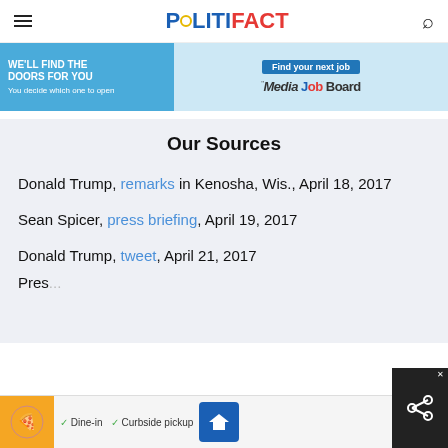POLITIFACT
[Figure (infographic): Advertisement banner: 'WE'LL FIND THE DOORS FOR YOU – You decide which one to open' with Media Job Board logo and 'Find your next job' button]
Our Sources
Donald Trump, remarks in Kenosha, Wis., April 18, 2017
Sean Spicer, press briefing, April 19, 2017
Donald Trump, tweet, April 21, 2017
Press...